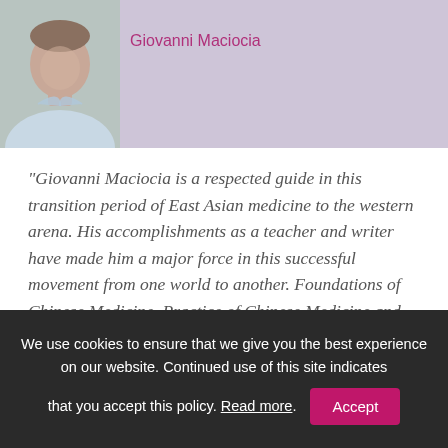[Figure (photo): Profile photo of Giovanni Maciocia, a middle-aged man in a light blue collared shirt, against a light purple/lavender background]
Giovanni Maciocia
"Giovanni Maciocia is a respected guide in this transition period of East Asian medicine to the western arena. His accomplishments as a teacher and writer have made him a major force in this successful movement from one world to another. Foundations of Chinese Medicine, Practice of Chinese Medicine and Tongue Diagnosis in Chinese Medicine are all outstanding contributions of scholarship and clinical
We use cookies to ensure that we give you the best experience on our website. Continued use of this site indicates that you accept this policy. Read more. Accept